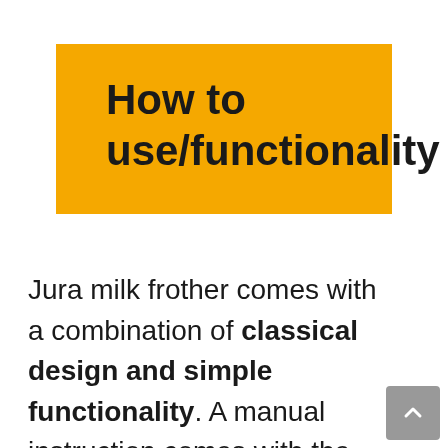How to use/functionality
Jura milk frother comes with a combination of classical design and simple functionality. A manual instruction comes with the product. You can simply read out the instructions to operate properly. Jura milk froth is fully